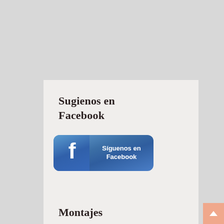Sugienos en Facebook
[Figure (logo): Facebook 'Síguenos en Facebook' button with blue rounded rectangle, Facebook 'f' logo on left and text 'Síguenos en Facebook' on right in white]
Montajes